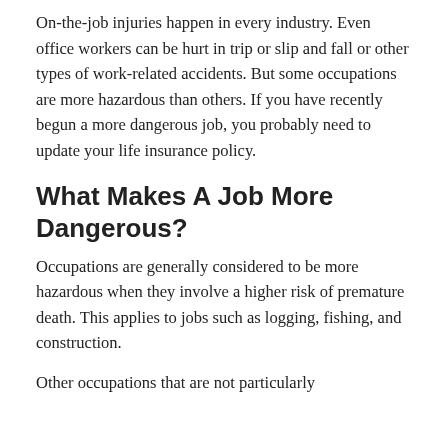On-the-job injuries happen in every industry. Even office workers can be hurt in trip or slip and fall or other types of work-related accidents. But some occupations are more hazardous than others. If you have recently begun a more dangerous job, you probably need to update your life insurance policy.
What Makes A Job More Dangerous?
Occupations are generally considered to be more hazardous when they involve a higher risk of premature death. This applies to jobs such as logging, fishing, and construction.
Other occupations that are not particularly